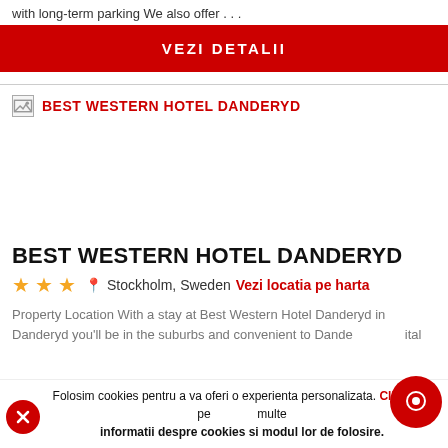with long-term parking We also offer . . .
VEZI DETALII
[Figure (photo): Broken image placeholder for BEST WESTERN HOTEL DANDERYD with red label text]
BEST WESTERN HOTEL DANDERYD
★★★  Stockholm, Sweden  Vezi locatia pe harta
Property Location With a stay at Best Western Hotel Danderyd in Danderyd you'll be in the suburbs and convenient to Danderyd Hospital
Folosim cookies pentru a va oferi o experienta personalizata. Click aici pentru mai multe informatii despre cookies si modul lor de folosire.